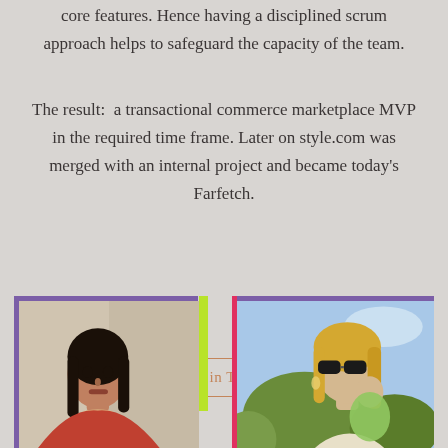core features. Hence having a disciplined scrum approach helps to safeguard the capacity of the team.
The result:  a transactional commerce marketplace MVP in the required time frame. Later on style.com was merged with an internal project and became today's Farfetch.
[Figure (other): A button with rounded corners and orange/terracotta border and text reading 'Get in Touch']
[Figure (photo): Two fashion photos side by side. Left: a dark-haired woman looking upward against a white wall, framed by purple top border and yellow-green right accent bar. Right: a blonde woman outdoors against a blue sky with green foliage, framed by purple top border and red left accent bar.]